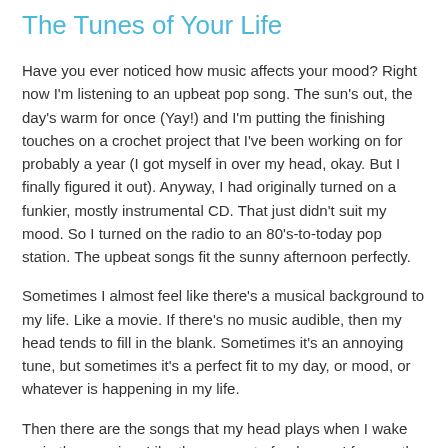The Tunes of Your Life
Have you ever noticed how music affects your mood? Right now I'm listening to an upbeat pop song. The sun's out, the day's warm for once (Yay!) and I'm putting the finishing touches on a crochet project that I've been working on for probably a year (I got myself in over my head, okay. But I finally figured it out). Anyway, I had originally turned on a funkier, mostly instrumental CD. That just didn't suit my mood. So I turned on the radio to an 80's-to-today pop station. The upbeat songs fit the sunny afternoon perfectly.
Sometimes I almost feel like there's a musical background to my life. Like a movie. If there's no music audible, then my head tends to fill in the blank. Sometimes it's an annoying tune, but sometimes it's a perfect fit to my day, or mood, or whatever is happening in my life.
Then there are the songs that my head plays when I wake up in the morning. Like the remnant of a dream, I frequently realize there's a song in my head about the time I'm making coffee. Many times it's obvious why that particular song is